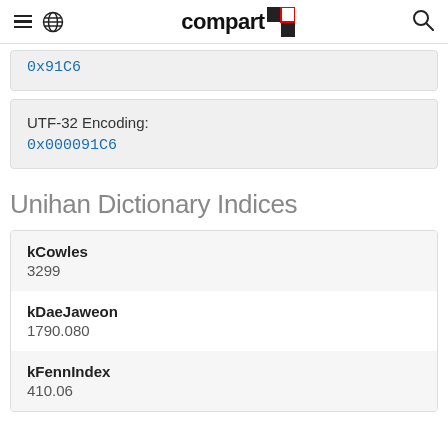compart
0x91C6
UTF-32 Encoding:
0x000091C6
Unihan Dictionary Indices
| Key | Value |
| --- | --- |
| kCowles | 3299 |
| kDaeJaweon | 1790.080 |
| kFennIndex | 410.06 |